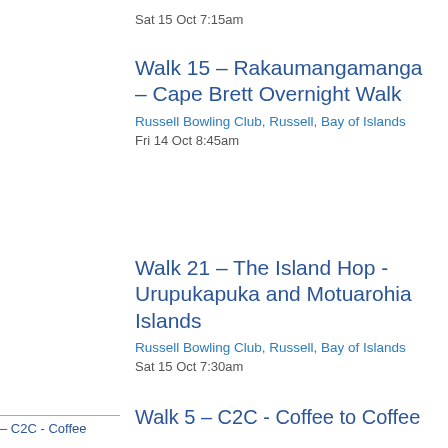Sat 15 Oct 7:15am
Walk 15 – Rakaumangamanga – Cape Brett Overnight Walk
Russell Bowling Club, Russell, Bay of Islands
Fri 14 Oct 8:45am
Walk 21 – The Island Hop - Urupukapuka and Motuarohia Islands
Russell Bowling Club, Russell, Bay of Islands
Sat 15 Oct 7:30am
– C2C - Coffee
Walk 5 – C2C - Coffee to Coffee